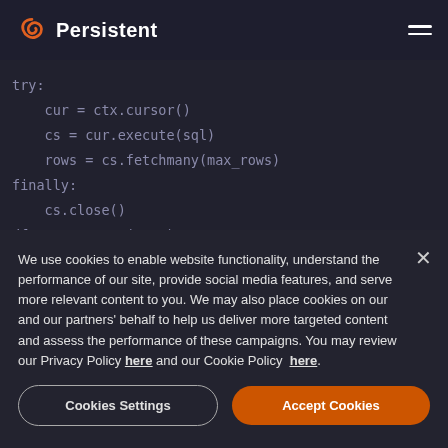Persistent
try:
    cur = ctx.cursor()
    cs = cur.execute(sql)
    rows = cs.fetchmany(max_rows)
finally:
    cs.close()
df = DataFrame(rows)
We use cookies to enable website functionality, understand the performance of our site, provide social media features, and serve more relevant content to you. We may also place cookies on our and our partners' behalf to help us deliver more targeted content and assess the performance of these campaigns. You may review our Privacy Policy here and our Cookie Policy here.
Cookies Settings | Accept Cookies